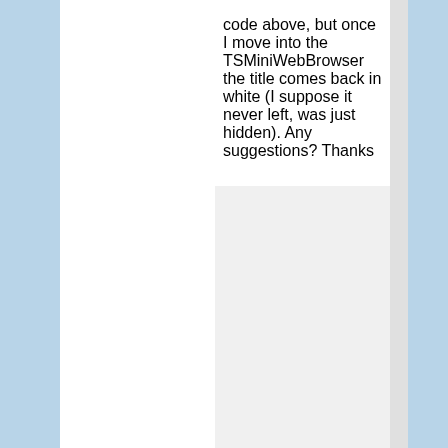code above, but once I move into the TSMiniWebBrowser the title comes back in white (I suppose it never left, was just hidden). Any suggestions? Thanks
Reply ↓
Jason on September 30, 2013 at 7:26